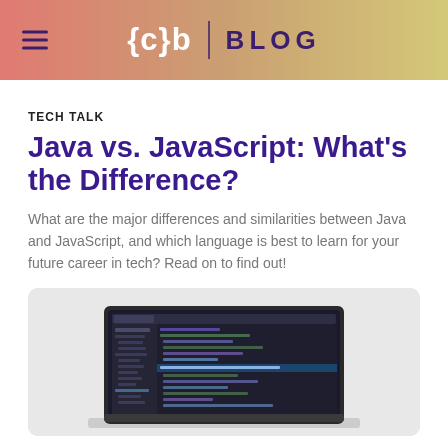{c}b | BLOG
TECH TALK
Java vs. JavaScript: What's the Difference?
What are the major differences and similarities between Java and JavaScript, and which language is best to learn for your future career in tech? Read on to find out!
[Figure (photo): A laptop screen showing a code editor with multiple panels and code visible, on a light gray background.]